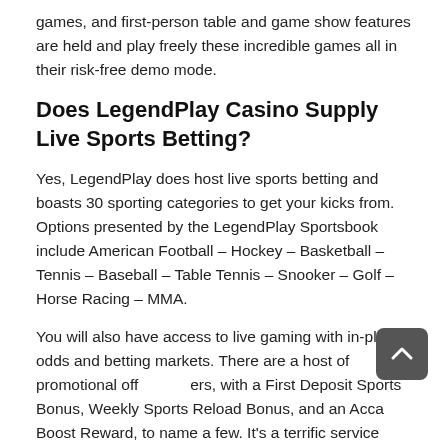games, and first-person table and game show features are held and play freely these incredible games all in their risk-free demo mode.
Does LegendPlay Casino Supply Live Sports Betting?
Yes, LegendPlay does host live sports betting and boasts 30 sporting categories to get your kicks from. Options presented by the LegendPlay Sportsbook include American Football – Hockey – Basketball – Tennis – Baseball – Table Tennis – Snooker – Golf – Horse Racing – MMA.
You will also have access to live gaming with in-play odds and betting markets. There are a host of promotional offers, with a First Deposit Sports Bonus, Weekly Sports Reload Bonus, and an Acca Boost Reward, to name a few. It's a terrific service here, perfect for sports fans in Canada to really test their knowledge of the sports they love.